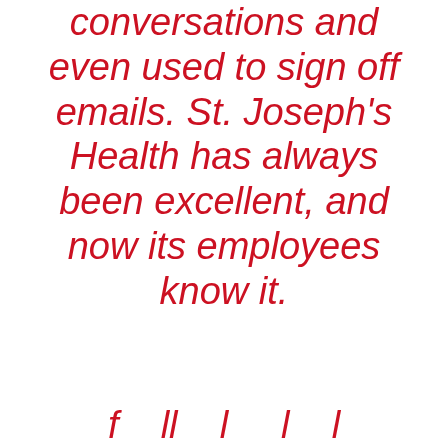conversations and even used to sign off emails. St. Joseph's Health has always been excellent, and now its employees know it.
f     ll    l     l    l